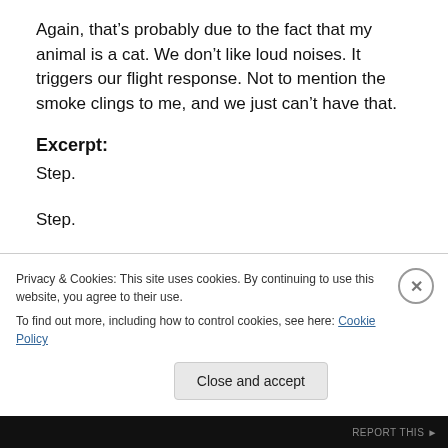Again, that’s probably due to the fact that my animal is a cat. We don’t like loud noises. It triggers our flight response. Not to mention the smoke clings to me, and we just can’t have that.
Excerpt:
Step.

Step.

Stop.

The rustling of dead leaves caught my attention, and I
Privacy & Cookies: This site uses cookies. By continuing to use this website, you agree to their use.
To find out more, including how to control cookies, see here: Cookie Policy